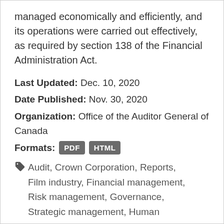managed economically and efficiently, and its operations were carried out effectively, as required by section 138 of the Financial Administration Act.
Last Updated: Dec. 10, 2020
Date Published: Nov. 30, 2020
Organization: Office of the Auditor General of Canada
Formats: PDF HTML
Audit, Crown Corporation, Reports, Film industry, Financial management, Risk management, Governance, Strategic management, Human